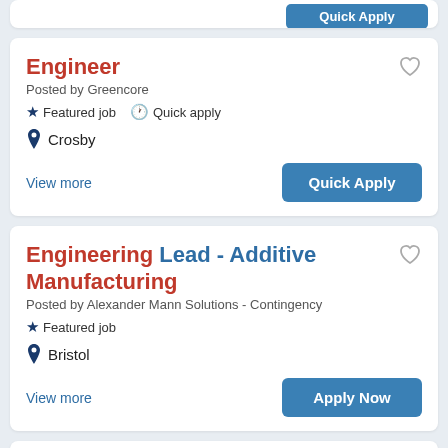[Figure (screenshot): Top partial job card with blue Quick Apply button visible at top]
Engineer
Posted by Greencore
Featured job   Quick apply
Crosby
View more
Quick Apply
Engineering Lead - Additive Manufacturing
Posted by Alexander Mann Solutions - Contingency
Featured job
Bristol
View more
Apply Now
Production Administrator